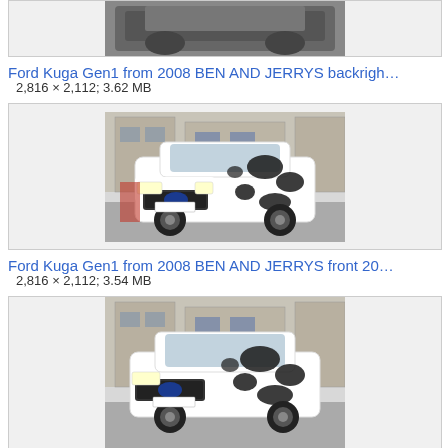[Figure (photo): Top partial image box showing a car photo cut off at top]
Ford Kuga Gen1 from 2008 BEN AND JERRYS backrigh…
2,816 × 2,112; 3.62 MB
[Figure (photo): White Ford Kuga SUV with Ben and Jerrys cow pattern wrap, front view, parked on street]
Ford Kuga Gen1 from 2008 BEN AND JERRYS front 20…
2,816 × 2,112; 3.54 MB
[Figure (photo): White Ford Kuga SUV with Ben and Jerrys cow pattern wrap, partial view at bottom of page]